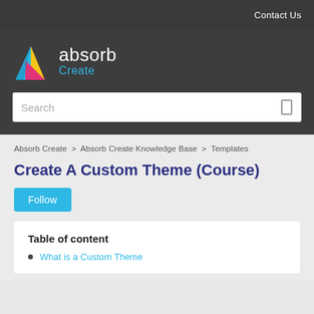Contact Us
[Figure (logo): Absorb Create logo with colorful triangular icon and text 'absorb Create']
Search
Absorb Create > Absorb Create Knowledge Base > Templates
Create A Custom Theme (Course)
Follow
Table of content
What is a Custom Theme